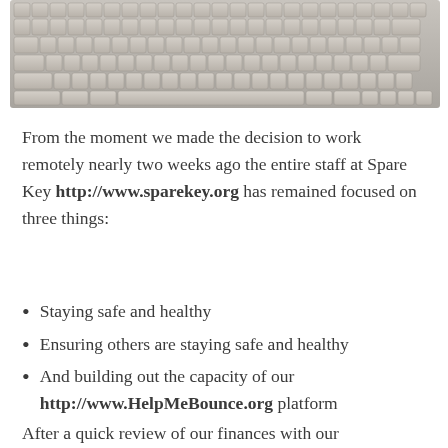[Figure (photo): Close-up photograph of a silver/gold laptop keyboard viewed from above, showing keys in rows.]
From the moment we made the decision to work remotely nearly two weeks ago the entire staff at Spare Key http://www.sparekey.org has remained focused on three things:
Staying safe and healthy
Ensuring others are staying safe and healthy
And building out the capacity of our http://www.HelpMeBounce.org platform
After a quick review of our finances with our